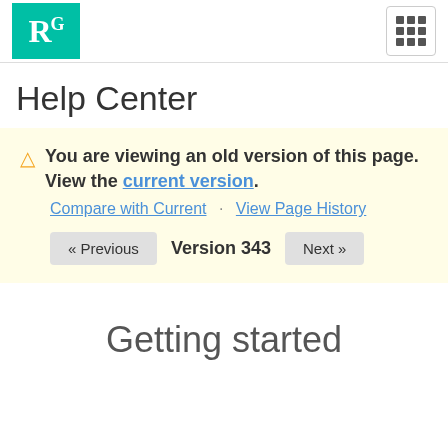[Figure (logo): ResearchGate RG logo in teal/green square with white text]
Help Center
You are viewing an old version of this page. View the current version. Compare with Current · View Page History
« Previous   Version 343   Next »
Getting started